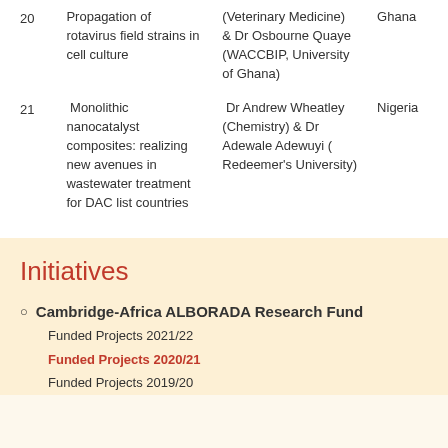| # | Project | Researcher | Country |
| --- | --- | --- | --- |
| 20 | Propagation of rotavirus field strains in cell culture | (Veterinary Medicine) & Dr Osbourne Quaye (WACCBIP, University of Ghana) | Ghana |
| 21 | Monolithic nanocatalyst composites: realizing new avenues in wastewater treatment for DAC list countries | Dr Andrew Wheatley (Chemistry) & Dr Adewale Adewuyi ( Redeemer's University) | Nigeria |
Initiatives
Cambridge-Africa ALBORADA Research Fund
Funded Projects 2021/22
Funded Projects 2020/21
Funded Projects 2019/20